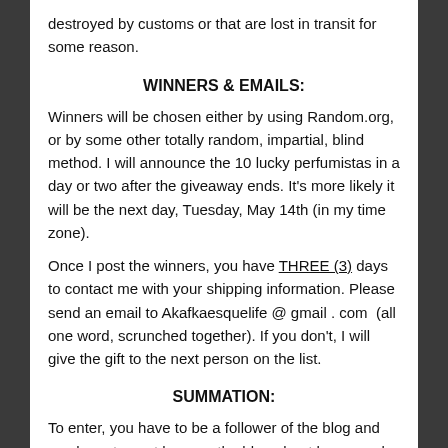destroyed by customs or that are lost in transit for some reason.
WINNERS & EMAILS:
Winners will be chosen either by using Random.org, or by some other totally random, impartial, blind method. I will announce the 10 lucky perfumistas in a day or two after the giveaway ends. It's more likely it will be the next day, Tuesday, May 14th (in my time zone).
Once I post the winners, you have THREE (3) days to contact me with your shipping information. Please send an email to Akafkaesquelife @ gmail . com  (all one word, scrunched together). If you don't, I will give the gift to the next person on the list.
SUMMATION:
To enter, you have to be a follower of the blog and you have to post here on the blog about how you do it. When you win, please help spread the word about the company